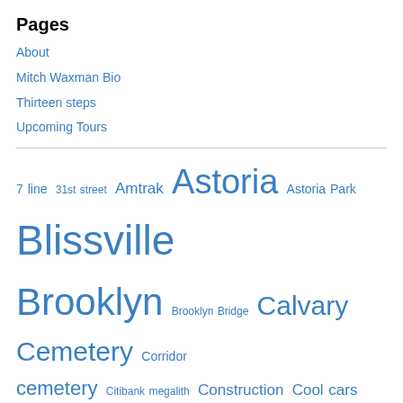Pages
About
Mitch Waxman Bio
Thirteen steps
Upcoming Tours
7 line 31st street Amtrak Astoria Astoria Park Blissville Brooklyn Brooklyn Bridge Calvary Cemetery Corridor cemetery Citibank megalith Construction Cool cars Degnon Terminal DUGABO DUGSBO DUKBO DUPBO Dutch Kills East River elevated subway Empire State Building English Kills FDNY Freedom Tower Gas Stations Grand Street Bridge Greenpoint H.P. Lovecraft Hell Gate Hudson River Hunters Point Kill Van Kull kosciuszko